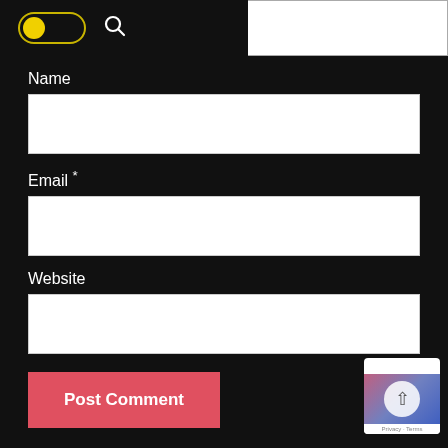[Figure (screenshot): Dark-themed web form showing toggle switch, search icon, and text area at top]
Name
[Figure (screenshot): White input field for Name]
Email *
[Figure (screenshot): White input field for Email]
Website
[Figure (screenshot): White input field for Website]
[Figure (screenshot): Post Comment button in red/pink color]
[Figure (screenshot): reCAPTCHA badge in bottom right corner with Privacy and Terms text]